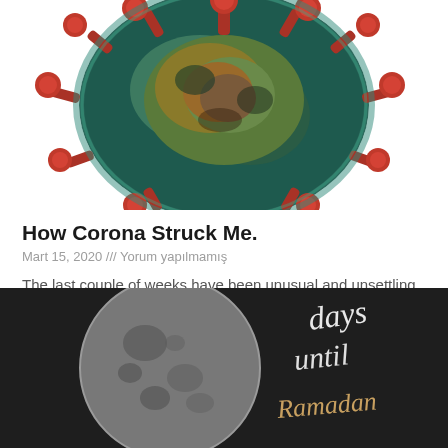[Figure (illustration): Close-up illustration of a coronavirus particle with red spike proteins and colorful textured surface, shown cropped at top of page]
How Corona Struck Me.
Mart 15, 2020 /// Yorum yapılmamış
The last couple of weeks have been unusual and unsettling to say the least. I believe I am not alone when I say it has been challenging to know how and what to feel.  I know for myself it began when I saw the photo of the Kabbah, empty. A
[Figure (photo): Dark chalkboard-style image showing a full moon on the left side and handwritten script text reading 'days until Ramadan' on the right side in white chalk lettering]